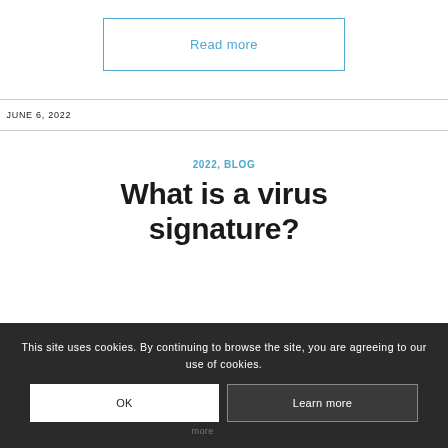Read more
JUNE 6, 2022
2022, BLOG
What is a virus signature?
This site uses cookies. By continuing to browse the site, you are agreeing to our use of cookies.
OK
Learn more